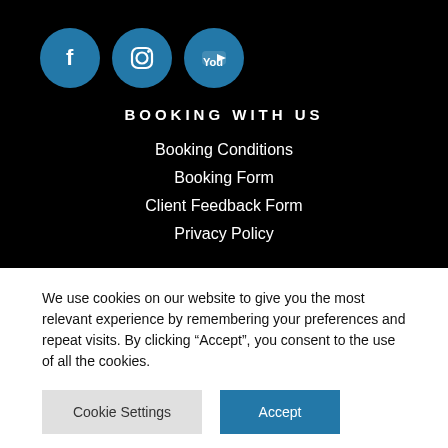[Figure (logo): Three social media icon circles: Facebook (f), Instagram (camera), YouTube (play button), all in blue circles on black background]
BOOKING WITH US
Booking Conditions
Booking Form
Client Feedback Form
Privacy Policy
KEEP IN TOUCH
We use cookies on our website to give you the most relevant experience by remembering your preferences and repeat visits. By clicking “Accept”, you consent to the use of all the cookies.
Cookie Settings
Accept